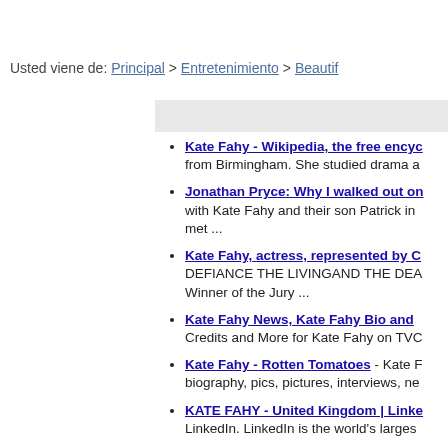Usted viene de: Principal > Entretenimiento > Beautif...
Kate Fahy - Wikipedia, the free encyc... from Birmingham. She studied drama a...
Jonathan Pryce: Why I walked out on... with Kate Fahy and their son Patrick in... met ...
Kate Fahy, actress, represented by C... DEFIANCE THE LIVINGAND THE DEA... Winner of the Jury ...
Kate Fahy News, Kate Fahy Bio and ... Credits and More for Kate Fahy on TVC...
Kate Fahy - Rotten Tomatoes - Kate F... biography, pics, pictures, interviews, ne...
KATE FAHY - United Kingdom | Linke... LinkedIn. LinkedIn is the world's larges...
Kate Fahy | Facebook - Kate Fahy is c... may know. Facebook gives people the ...
Kate Fahy (kfahy98) on Twitter - The... SoDamnTrue 29 Nov. *walks by smoke...
Jonathan Pryce: Why I walked out on... with Kate Fahy and their son Patrick in... met ...
Kate Fahy, actress, represented by C...